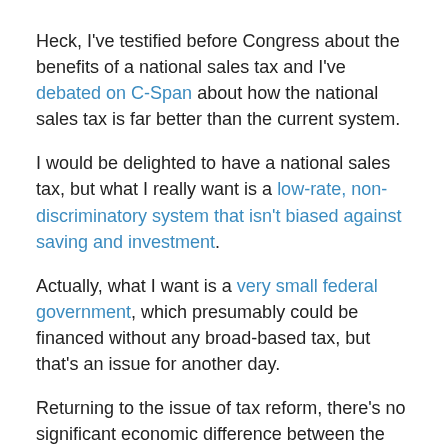Heck, I've testified before Congress about the benefits of a national sales tax and I've debated on C-Span about how the national sales tax is far better than the current system.
I would be delighted to have a national sales tax, but what I really want is a low-rate, non-discriminatory system that isn't biased against saving and investment.
Actually, what I want is a very small federal government, which presumably could be financed without any broad-based tax, but that's an issue for another day.
Returning to the issue of tax reform, there's no significant economic difference between the flat tax and the sales tax. What we're really debating is how to replace the squalid internal revenue code with something worthy of a great nation.